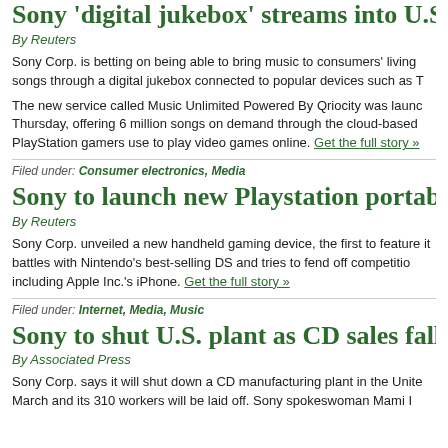Sony 'digital jukebox' streams into U.S.
By Reuters
Sony Corp. is betting on being able to bring music to consumers' living rooms songs through a digital jukebox connected to popular devices such as T
The new service called Music Unlimited Powered By Qriocity was launched Thursday, offering 6 million songs on demand through the cloud-based PlayStation gamers use to play video games online. Get the full story »
Filed under: Consumer electronics, Media
Sony to launch new Playstation portable
By Reuters
Sony Corp. unveiled a new handheld gaming device, the first to feature it battles with Nintendo's best-selling DS and tries to fend off competition including Apple Inc.'s iPhone. Get the full story »
Filed under: Internet, Media, Music
Sony to shut U.S. plant as CD sales fall
By Associated Press
Sony Corp. says it will shut down a CD manufacturing plant in the United March and its 310 workers will be laid off. Sony spokeswoman Mami I